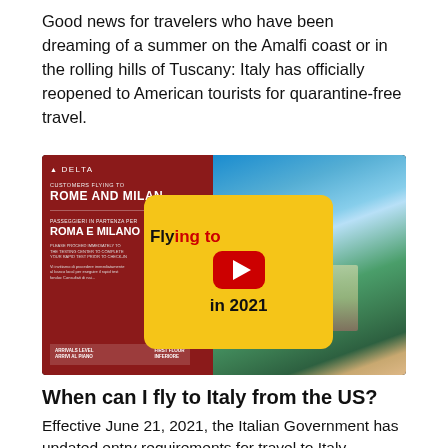Good news for travelers who have been dreaming of a summer on the Amalfi coast or in the rolling hills of Tuscany: Italy has officially reopened to American tourists for quarantine-free travel.
[Figure (photo): Video thumbnail showing a Delta Airlines sign for flights to Rome and Milan on the left, and an aerial coastal Italian city view on the right, with a YouTube play button overlay and text 'Flying to Italy in 2021']
When can I fly to Italy from the US?
Effective June 21, 2021, the Italian Government has updated entry requirements for travel to Italy. Passengers from the